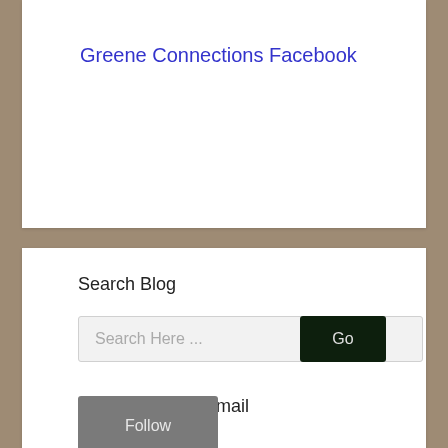Greene Connections Facebook
Search Blog
Search Here ...
Go
Follow Blog via Email
Email Address
Follow